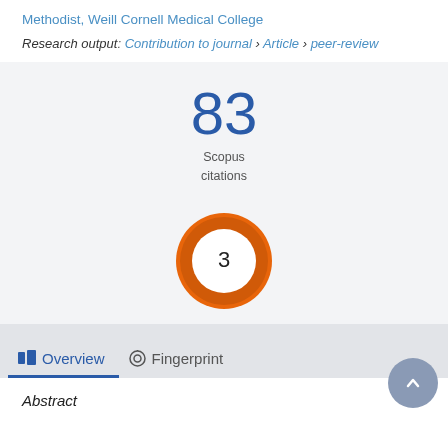Methodist, Weill Cornell Medical College
Research output: Contribution to journal › Article › peer-review
[Figure (other): Scopus citation count badge showing 83 citations in large blue text with label 'Scopus citations' below]
[Figure (donut-chart): Orange donut chart badge with the number 3 in the center white circle]
Overview
Fingerprint
Abstract